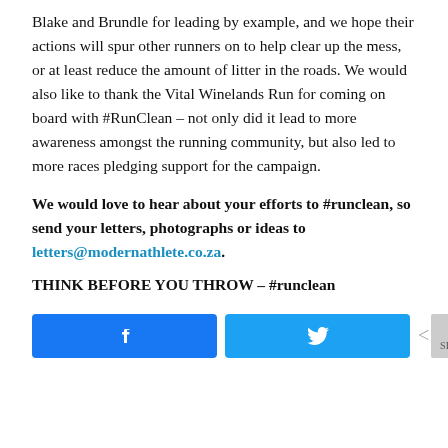Blake and Brundle for leading by example, and we hope their actions will spur other runners on to help clear up the mess, or at least reduce the amount of litter in the roads. We would also like to thank the Vital Winelands Run for coming on board with #RunClean – not only did it lead to more awareness amongst the running community, but also led to more races pledging support for the campaign.
We would love to hear about your efforts to #runclean, so send your letters, photographs or ideas to letters@modernathlete.co.za.
THINK BEFORE YOU THROW – #runclean
[Figure (infographic): Social share buttons: Facebook (blue) and Twitter (blue), plus a share count box showing 0 SHARES with a share icon]